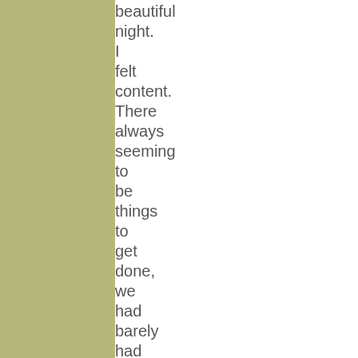beautiful night. I felt content. There always seeming to be things to get done, we had barely had chance to simply sit